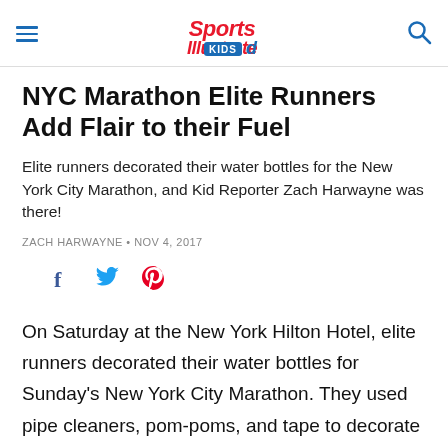Sports Illustrated Kids
NYC Marathon Elite Runners Add Flair to their Fuel
Elite runners decorated their water bottles for the New York City Marathon, and Kid Reporter Zach Harwayne was there!
ZACH HARWAYNE • NOV 4, 2017
[Figure (other): Social sharing icons: Facebook (dark blue f), Twitter (blue bird), Pinterest (red P)]
On Saturday at the New York Hilton Hotel, elite runners decorated their water bottles for Sunday's New York City Marathon. They used pipe cleaners, pom-poms, and tape to decorate their bottles so they can easily spot which water bottle